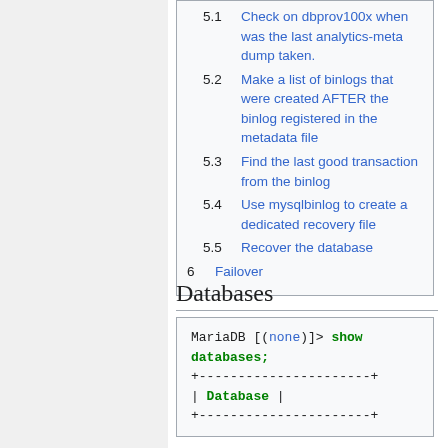5.1 Check on dbprov100x when was the last analytics-meta dump taken.
5.2 Make a list of binlogs that were created AFTER the binlog registered in the metadata file
5.3 Find the last good transaction from the binlog
5.4 Use mysqlbinlog to create a dedicated recovery file
5.5 Recover the database
6 Failover
Databases
MariaDB [(none)]> show databases;
+----------------------+
| Database             |
+----------------------+